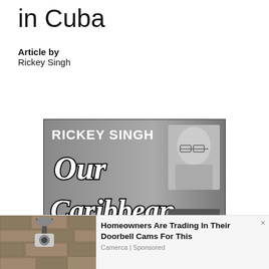in Cuba
Article by
Rickey Singh
[Figure (illustration): Rickey Singh 'Our Caribbean' column banner — grayscale image with columnist name 'RICKEY SINGH' at top left, bold stylized text 'Our Caribbean' in center-left, and a photo of an older man wearing glasses on the right side.]
[Figure (photo): Advertisement showing an outdoor security camera mounted on a stone wall. Text reads: 'Homeowners Are Trading In Their Doorbell Cams For This' with source 'Camerca | Sponsored']